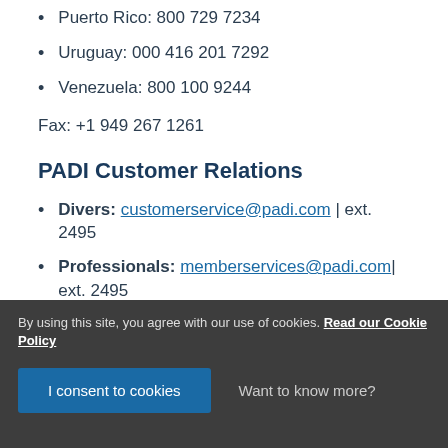Puerto Rico: 800 729 7234
Uruguay: 000 416 201 7292
Venezuela: 800 100 9244
Fax: +1 949 267 1261
PADI Customer Relations
Divers: customerservice@padi.com | ext. 2495
Professionals: memberservices@padi.com | ext. 2495
Retailer and Resort Members:
By using this site, you agree with our use of cookies. Read our Cookie Policy
I consent to cookies   Want to know more?